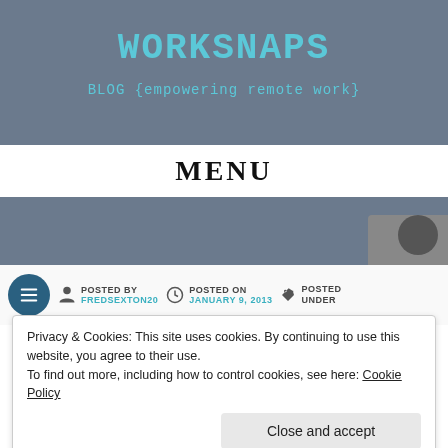WORKSNAPS
BLOG {empowering remote work}
MENU
[Figure (screenshot): Banner/header image showing a device, with a teal horizontal accent bar at the bottom]
POSTED BY FREDSEXTON20   POSTED ON JANUARY 9, 2013   POSTED UNDER
Privacy & Cookies: This site uses cookies. By continuing to use this website, you agree to their use.
To find out more, including how to control cookies, see here: Cookie Policy
Close and accept